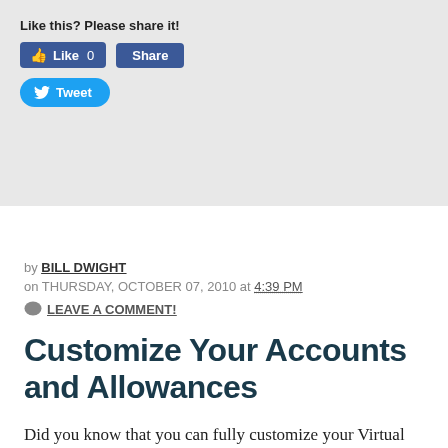Like this? Please share it!
[Figure (screenshot): Facebook Like button showing 'Like 0' and a 'Share' button, both in Facebook blue style]
[Figure (screenshot): Twitter Tweet button in Twitter blue rounded pill style]
by BILL DWIGHT
on THURSDAY, OCTOBER 07, 2010 at 4:39 PM
LEAVE A COMMENT!
Customize Your Accounts and Allowances
Did you know that you can fully customize your Virtual Family Bank setup in FamZoo? Most families just stick with one of the standard configurations stamped out by our Quick Start page. In fact, many families I've